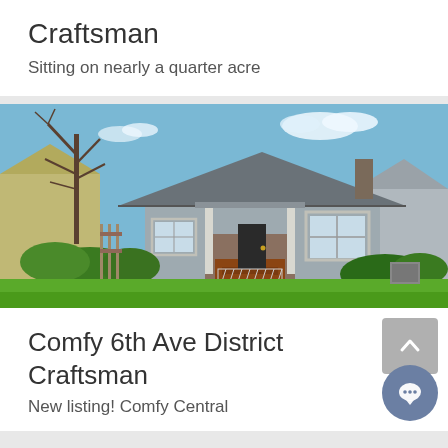Craftsman
Sitting on nearly a quarter acre
[Figure (photo): Exterior photo of a Craftsman-style bungalow with gray siding, brick porch steps, white trim, front lawn with green grass, shrubs, and a concrete walkway. A bare tree is on the left side.]
Comfy 6th Ave District Craftsman
New listing! Comfy Central